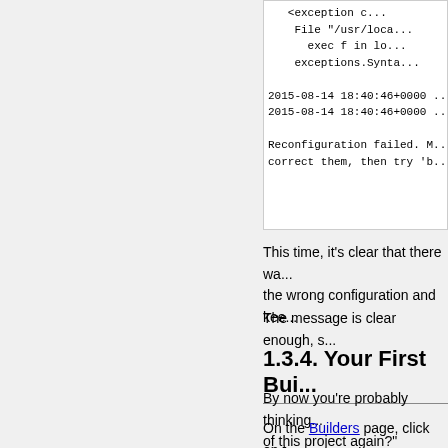File "/usr/loca...
    exec f in lo...
exceptions.Synta...

2015-08-14 18:40:46+0000 ...
2015-08-14 18:40:46+0000 ...

Reconfiguration failed. M...
correct them, then try 'b...
This time, it's clear that there wa... the wrong configuration and kee...
The message is clear enough, s...
1.3.4. Your First Bui...
By now you're probably thinking... of this project again?"
On the Builders page, click on t... force a build: